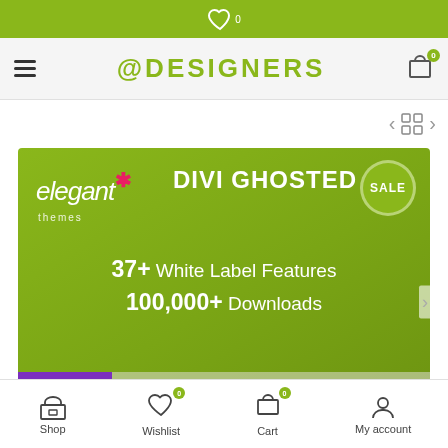Wishlist icon with badge 0
[Figure (screenshot): E-commerce website header with green top bar showing wishlist icon, navigation bar with hamburger menu, DESIGNERS logo, and cart icon with badge 0]
[Figure (screenshot): Product banner for Divi Ghosted by Elegant Themes showing SALE badge, 37+ White Label Features, 100,000+ Downloads, #1 Top Selling Developer]
Shop | Wishlist 0 | Cart 0 | My account